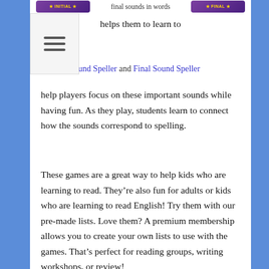[Figure (screenshot): Purple badge images for game apps shown at top, with centered text 'final sounds in words helps them learn to']
l. Initial Sound Speller and Final Sound Speller help players focus on these important sounds while having fun. As they play, students learn to connect how the sounds correspond to spelling.
These games are a great way to help kids who are learning to read. They're also fun for adults or kids who are learning to read English! Try them with our pre-made lists. Love them? A premium membership allows you to create your own lists to use with the games. That's perfect for reading groups, writing workshops, or review!